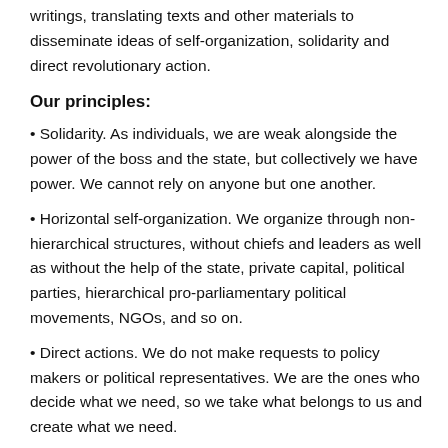writings, translating texts and other materials to disseminate ideas of self-organization, solidarity and direct revolutionary action.
Our principles:
• Solidarity. As individuals, we are weak alongside the power of the boss and the state, but collectively we have power. We cannot rely on anyone but one another.
• Horizontal self-organization. We organize through non-hierarchical structures, without chiefs and leaders as well as without the help of the state, private capital, political parties, hierarchical pro-parliamentary political movements, NGOs, and so on.
• Direct actions. We do not make requests to policy makers or political representatives. We are the ones who decide what we need, so we take what belongs to us and create what we need.